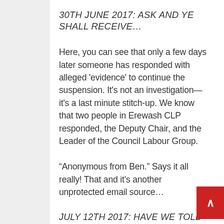30TH JUNE 2017: ASK AND YE SHALL RECEIVE…
Here, you can see that only a few days later someone has responded with alleged 'evidence' to continue the suspension. It's not an investigation—it's a last minute stitch-up. We know that two people in Erewash CLP responded, the Deputy Chair, and the Leader of the Council Labour Group.
“Anonymous from Ben.” Says it all really! That and it’s another unprotected email source…
JULY 12TH 2017: HAVE WE TOLD HIM HE HAS BEEN STITCHED UP AGAIN?